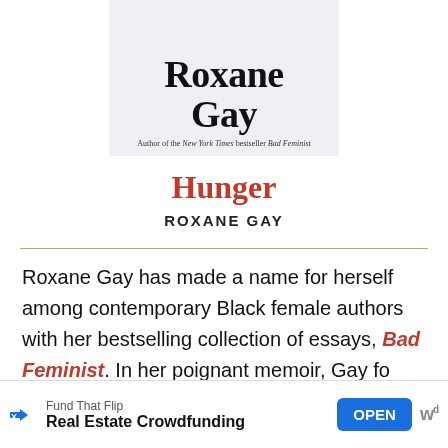[Figure (illustration): Partial book cover showing author name 'Roxane Gay' in large serif font on a light blue-gray background, with subtitle 'Author of the New York Times bestseller Bad Feminist']
Hunger
ROXANE GAY
Roxane Gay has made a name for herself among contemporary Black female authors with her bestselling collection of essays, Bad Feminist. In her poignant memoir, Gay fo...
[Figure (other): Advertisement banner: Fund That Flip - Real Estate Crowdfunding with OPEN button and logo]